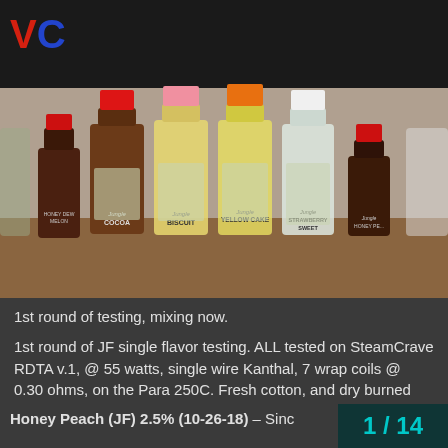VC
[Figure (photo): Photo of several Jungle Flavors e-liquid bottles on a table: Honey Dew Melon, Cocoa, Biscuit, Yellow Cake, Strawberry Sweet, and Honey Peach flavor bottles with colored caps (red, dark, pink, orange, white, red).]
1st round of testing, mixing now.
1st round of JF single flavor testing. ALL tested on SteamCrave RDTA v.1, @ 55 watts, single wire Kanthal, 7 wrap coils @ 0.30 ohms, on the Para 250C. Fresh cotton, and dry burned coils before every test. Percentages varied by flavor. All steeped 1.5 + weeks plus.
Honey Peach (JF) 2.5% (10-26-18) – Sinc
1 / 14